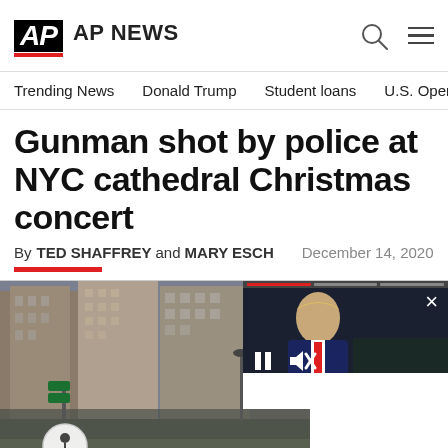AP NEWS
Trending News   Donald Trump   Student loans   U.S. Open Tenn
Gunman shot by police at NYC cathedral Christmas concert
By TED SHAFFREY and MARY ESCH   December 14, 2020
[Figure (photo): Street scene with large crowd gathered outside NYC cathedral, brick buildings visible in background. An overlapping video thumbnail shows a person in a suit (Trump) with video player controls.]